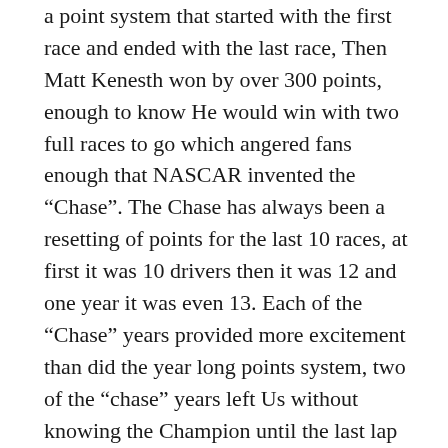a point system that started with the first race and ended with the last race, Then Matt Kenesth won by over 300 points, enough to know He would win with two full races to go which angered fans enough that NASCAR invented the “Chase”. The Chase has always been a resetting of points for the last 10 races, at first it was 10 drivers then it was 12 and one year it was even 13. Each of the “Chase” years provided more excitement than did the year long points system, two of the “chase” years left Us without knowing the Champion until the last lap of the last race when Kurt Busch beat Jimmie Johnson and Tony Stewart beat Carl Edwards. In fact the Tony Stewart win was a tie that went to Stewart because of His tiebreaker points.
This new system will bring out a new audience, maybe not the first year as much as over the next three or four (if the system stays in place). NASCAR wants to put the emphasis on winning not just protecting your points. Getting a win in this system will surely do that. What You will see is a 20th